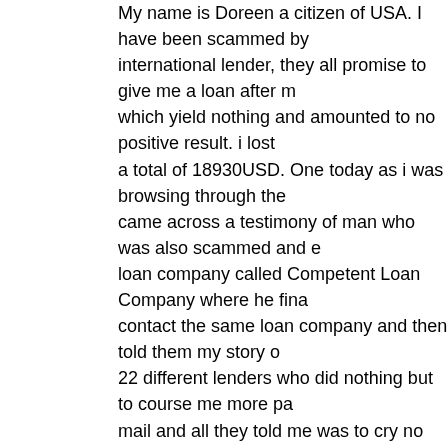My name is Doreen a citizen of USA. I have been scammed by international lender, they all promise to give me a loan after m which yield nothing and amounted to no positive result. i lost a total of 18930USD. One today as i was browsing through the came across a testimony of man who was also scammed and e loan company called Competent Loan Company where he fina contact the same loan company and then told them my story o 22 different lenders who did nothing but to course me more pa mail and all they told me was to cry no more because i will ge also i have made the right choice of contacting them. i filled th proceeded with all what was requested of me and here i am too COMPETENT LOAN COMPANY HAS GIVEN ME A LOAN that i will keep testifying on the internet on how i got my loan. kindly and quickly contact Competent loan company now for y competentloancompany@gmail.com
October 7, 2013 at 01:30 | Report abuse | Reply
11. Sonia
STORY ON HOW I GOT A LOAN
i have been scammed several times in the act of trying to get a internet. i contacted different lending company on the internet earn money, i was stock and felt my life has come to an end an as been unfair, i almost committed suicide hoping and feeling t it all when i came across a testimony of a woman on Google o